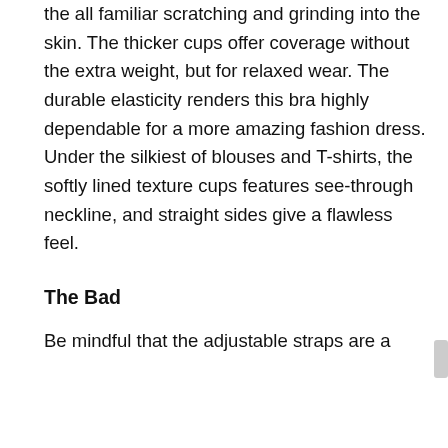the all familiar scratching and grinding into the skin. The thicker cups offer coverage without the extra weight, but for relaxed wear. The durable elasticity renders this bra highly dependable for a more amazing fashion dress. Under the silkiest of blouses and T-shirts, the softly lined texture cups features see-through neckline, and straight sides give a flawless feel.
The Bad
Be mindful that the adjustable straps are a